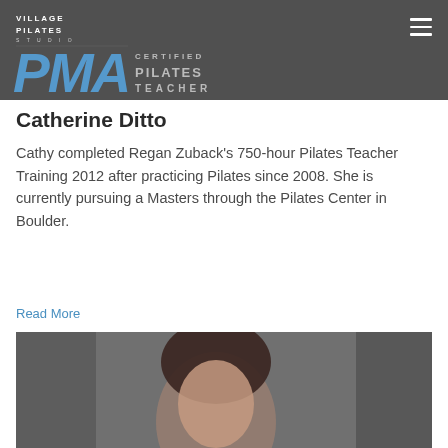[Figure (screenshot): Village Pilates Studio logo and PMA Certified Pilates Teacher badge on dark header background with navigation menu icon]
Catherine Ditto
Cathy completed Regan Zuback's 750-hour Pilates Teacher Training 2012 after practicing Pilates since 2008. She is currently pursuing a Masters through the Pilates Center in Boulder.
Read More
[Figure (photo): Photo of Catherine Ditto, a woman with dark hair, taken at the Pilates studio]